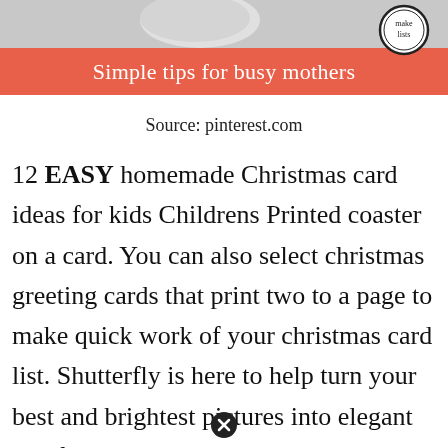[Figure (illustration): Header image with salmon/coral colored banner reading 'Simple tips for busy mothers' and a circular badge with handwritten text 'Make Lists' in the top right corner. Gray background above the banner.]
Source: pinterest.com
12 EASY homemade Christmas card ideas for kids Childrens Printed coaster on a card. You can also select christmas greeting cards that print two to a page to make quick work of your christmas card list. Shutterfly is here to help turn your best and brightest pictures into elegant and festive